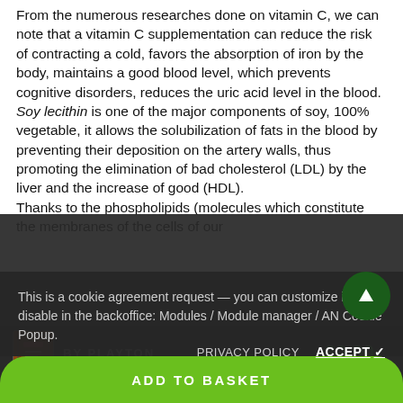From the numerous researches done on vitamin C, we can note that a vitamin C supplementation can reduce the risk of contracting a cold, favors the absorption of iron by the body, maintains a good blood level, which prevents cognitive disorders, reduces the uric acid level in the blood. Soy lecithin is one of the major components of soy, 100% vegetable, it allows the solubilization of fats in the blood by preventing their deposition on the artery walls, thus promoting the elimination of bad cholesterol (LDL) by the liver and the increase of good (HDL). Thanks to the phospholipids (molecules which constitute the membranes of the cells of our organization) which it contains, it contributes to
This is a cookie agreement request — you can customize it or disable in the backoffice: Modules / Module manager / AN Cookie Popup.
PRIVACY POLICY   ACCEPT ✓
30.90
ADD TO BASKET